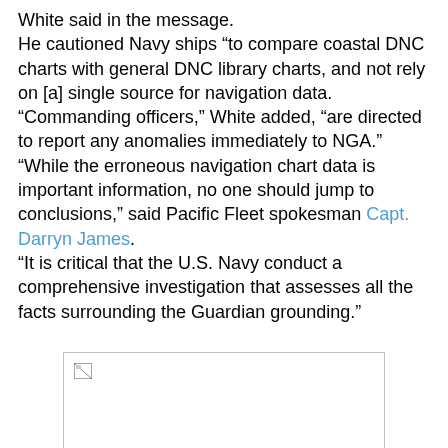White said in the message.
He cautioned Navy ships “to compare coastal DNC charts with general DNC library charts, and not rely on [a] single source for navigation data.
“Commanding officers,” White added, “are directed to report any anomalies immediately to NGA.”
"While the erroneous navigation chart data is important information, no one should jump to conclusions," said Pacific Fleet spokesman Capt. Darryn James.
"It is critical that the U.S. Navy conduct a comprehensive investigation that assesses all the facts surrounding the Guardian grounding."
[Figure (photo): An image placeholder with a broken image icon in the top-left corner, bordered box with white background.]